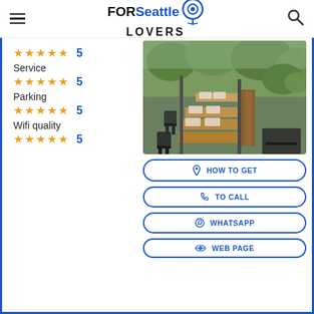FOR Seattle LOVERS
Service
★★★★★ 5
Parking
★★★★★ 5
Wifi quality
★★★★★ 5
[Figure (photo): Outdoor restaurant patio with wooden tables, chairs, and bench seating surrounded by greenery]
HOW TO GET
TO CALL
WHATSAPP
WEB PAGE